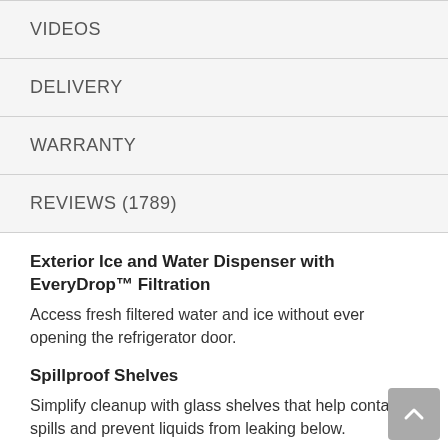VIDEOS
DELIVERY
WARRANTY
REVIEWS (1789)
Exterior Ice and Water Dispenser with EveryDrop™ Filtration
Access fresh filtered water and ice without ever opening the refrigerator door.
Spillproof Shelves
Simplify cleanup with glass shelves that help contain spills and prevent liquids from leaking below.
Humidity-Controlled Double Crisper
Get the room you need to store fruits and vegetables in their ideal environment.